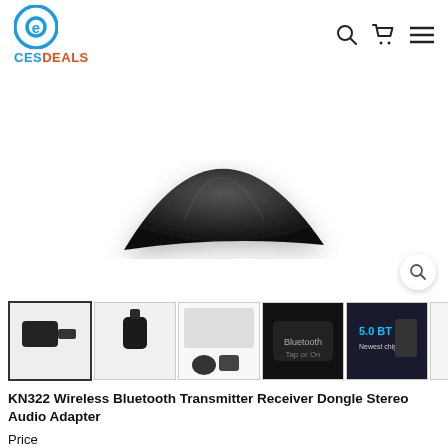[Figure (logo): CESDeals logo with circular icon and brand name in blue/orange]
[Figure (photo): Main product image of KN322 Bluetooth Transmitter Receiver Dongle - top angle showing black triangular/conical shape on white background]
[Figure (photo): Thumbnail strip showing 7 product images of the KN322 Bluetooth adapter from various angles]
KN322 Wireless Bluetooth Transmitter Receiver Dongle Stereo Audio Adapter
Price